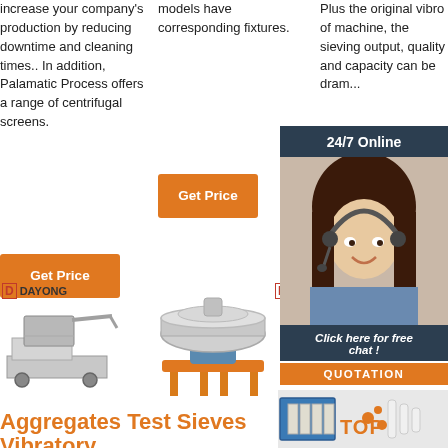increase your company's production by reducing downtime and cleaning times.. In addition, Palamatic Process offers a range of centrifugal screens.
models have corresponding fixtures.
[Figure (other): Orange Get Price button in column 2]
Plus the original vibro of machine, the sieving output, quality and capacity can be dramatically...
[Figure (other): 24/7 Online chat agent overlay with woman wearing headset, dark background header '24/7 Online', italic text 'Click here for free chat !' and orange QUOTATION button]
[Figure (other): Orange Get Price button partially visible in column 3]
[Figure (other): Orange Get Price button in column 1]
[Figure (photo): DAYONG branded industrial sieve/filter machine, stainless steel, on wheels]
[Figure (photo): DAYONG branded circular vibro sieving machine with orange motor stand]
[Figure (photo): Industrial filter press machine with blue frame, TOP branding overlay]
Aggregates Test Sieves Vibratory